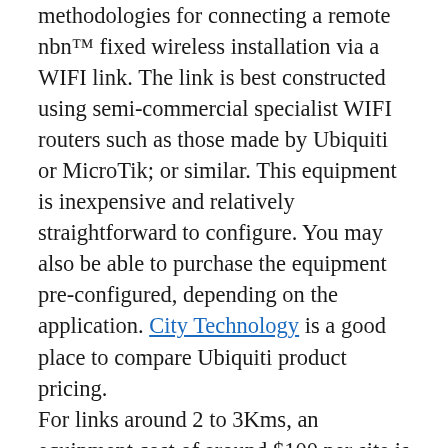methodologies for connecting a remote nbn™ fixed wireless installation via a WIFI link. The link is best constructed using semi-commercial specialist WIFI routers such as those made by Ubiquiti or MicroTik; or similar. This equipment is inexpensive and relatively straightforward to configure. You may also be able to purchase the equipment pre-configured, depending on the application. City Technology is a good place to compare Ubiquiti product pricing.
For links around 2 to 3Kms, an equipment cost of around $100 per site is likely. Installation and cabling is additional. Reliable links of up to 20Km may be economically realised.  If the WIFI link is well designed and constructed it